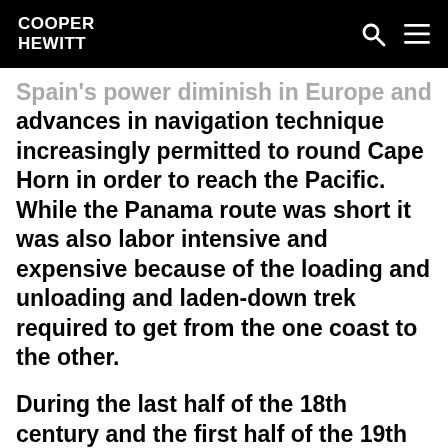COOPER HEWITT
Spain's power diminish in Europe and advances in navigation technique increasingly permitted to round Cape Horn in order to reach the Pacific. While the Panama route was short it was also labor intensive and expensive because of the loading and unloading and laden-down trek required to get from the one coast to the other.
During the last half of the 18th century and the first half of the 19th century, migrations to the countryside decreased